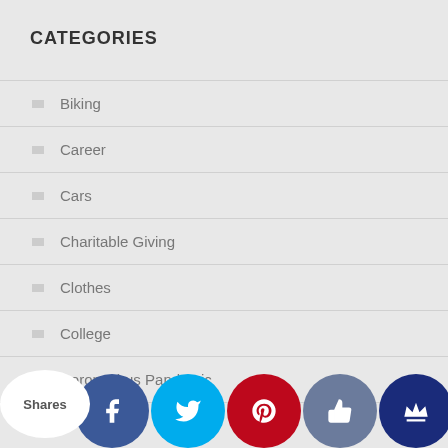CATEGORIES
Biking
Career
Cars
Charitable Giving
Clothes
College
Coronavirus Pandemic
Shares  edit C...
[Figure (screenshot): Social sharing icons bar: Facebook (dark blue), Twitter (cyan), Pinterest (red), Like/thumbs-up (slate blue), Crown icon (dark blue)]